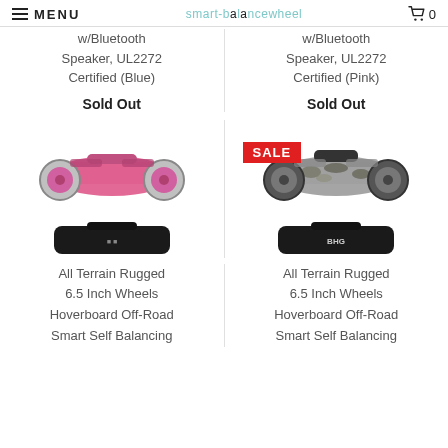MENU | smart-balancewheel | 0
w/Bluetooth Speaker, UL2272 Certified (Blue)
w/Bluetooth Speaker, UL2272 Certified (Pink)
Sold Out
Sold Out
[Figure (photo): Pink All Terrain Rugged hoverboard with large wheels, shown with a black carrying bag below]
[Figure (photo): Camouflage All Terrain Rugged hoverboard with large wheels and SALE badge, shown with a black carrying bag below]
All Terrain Rugged 6.5 Inch Wheels Hoverboard Off-Road Smart Self Balancing
All Terrain Rugged 6.5 Inch Wheels Hoverboard Off-Road Smart Self Balancing